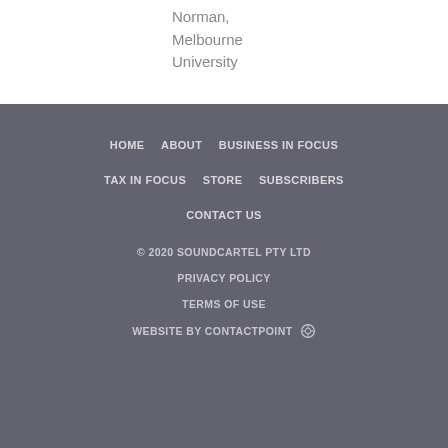Norman,
Melbourne
University
HOME   ABOUT   BUSINESS IN FOCUS
TAX IN FOCUS   STORE   SUBSCRIBERS
CONTACT US

© 2020 SOUNDCARTEL PTY LTD

PRIVACY POLICY

TERMS OF USE

WEBSITE BY CONTACTPOINT